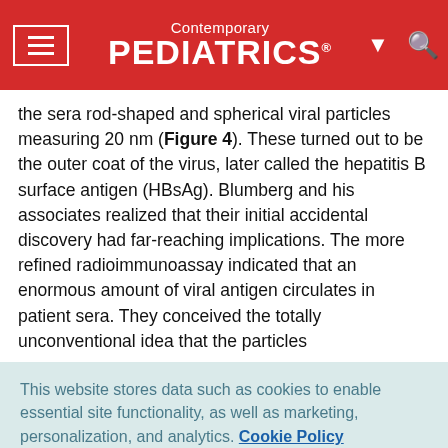Contemporary PEDIATRICS
the sera rod-shaped and spherical viral particles measuring 20 nm (Figure 4). These turned out to be the outer coat of the virus, later called the hepatitis B surface antigen (HBsAg). Blumberg and his associates realized that their initial accidental discovery had far-reaching implications. The more refined radioimmunoassay indicated that an enormous amount of viral antigen circulates in patient sera. They conceived the totally unconventional idea that the particles could be used for the prevention of infection. This
This website stores data such as cookies to enable essential site functionality, as well as marketing, personalization, and analytics. Cookie Policy